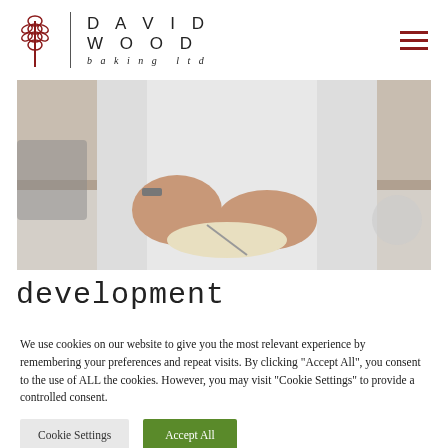DAVID WOOD baking ltd
[Figure (photo): A baker in a white chef's coat working with dough/pastry on a kitchen counter, hands visible cutting or shaping food.]
development
We use cookies on our website to give you the most relevant experience by remembering your preferences and repeat visits. By clicking "Accept All", you consent to the use of ALL the cookies. However, you may visit "Cookie Settings" to provide a controlled consent.